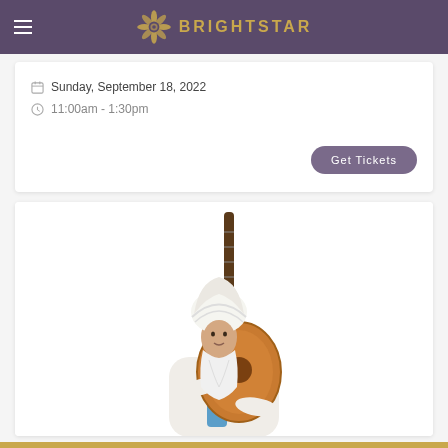BRIGHTSTAR
Sunday, September 18, 2022
11:00am - 1:30pm
Get Tickets
[Figure (photo): An elderly man with a long white beard wearing a white turban and white clothing, holding an acoustic guitar close to his body. He is smiling gently. The photo is taken against a white background.]